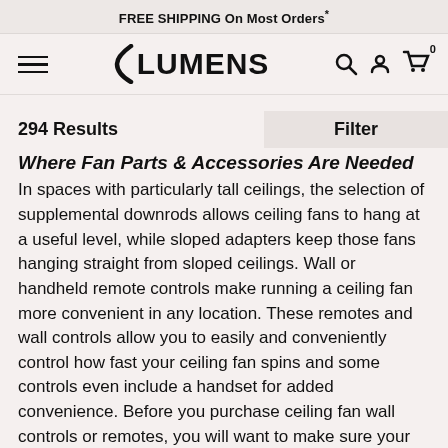FREE SHIPPING On Most Orders*
[Figure (logo): Lumens logo with stylized bracket and bold text LUMENS, hamburger menu icon on left, search, account, and cart icons on right]
294 Results
Filter
Where Fan Parts & Accessories Are Needed
In spaces with particularly tall ceilings, the selection of supplemental downrods allows ceiling fans to hang at a useful level, while sloped adapters keep those fans hanging straight from sloped ceilings. Wall or handheld remote controls make running a ceiling fan more convenient in any location. These remotes and wall controls allow you to easily and conveniently control how fast your ceiling fan spins and some controls even include a handset for added convenience. Before you purchase ceiling fan wall controls or remotes, you will want to make sure your fan is compatible. And finally, a fan blade can occasionally